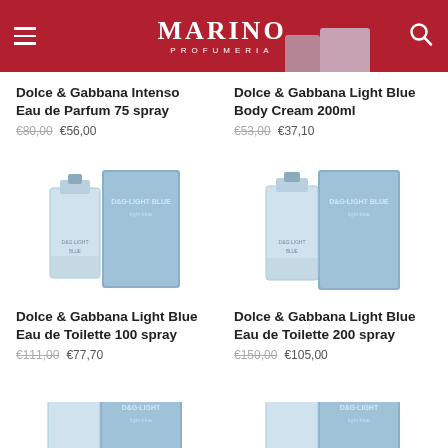MARINO PROFUMERIA
Dolce & Gabbana Intenso Eau de Parfum 75 spray
€80,00 €56,00
Dolce & Gabbana Light Blue Body Cream 200ml
€53,00 €37,10
[Figure (photo): Dolce & Gabbana Light Blue perfume bottle and box, light blue packaging]
Dolce & Gabbana Light Blue Eau de Toilette 100 spray
€111,00 €77,70
[Figure (photo): Dolce & Gabbana Light Blue perfume bottle and box, light blue packaging]
Dolce & Gabbana Light Blue Eau de Toilette 200 spray
€150,00 €105,00
[Figure (photo): Dolce & Gabbana Light Blue perfume bottle and box, light blue packaging, partially visible]
[Figure (photo): Dolce & Gabbana Light Blue perfume bottle and box, light blue packaging, partially visible]